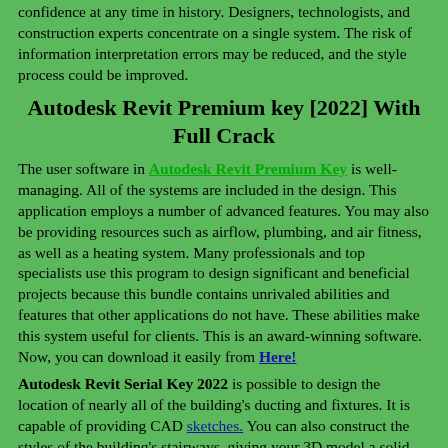confidence at any time in history. Designers, technologists, and construction experts concentrate on a single system. The risk of information interpretation errors may be reduced, and the style process could be improved.
Autodesk Revit Premium key [2022] With Full Crack
The user software in Autodesk Revit Premium Key is well-managing. All of the systems are included in the design. This application employs a number of advanced features. You may also be providing resources such as airflow, plumbing, and air fitness, as well as a heating system. Many professionals and top specialists use this program to design significant and beneficial projects because this bundle contains unrivaled abilities and features that other applications do not have. These abilities make this system useful for clients. This is an award-winning software. Now, you can download it easily from Here!
Autodesk Revit Serial Key 2022 is possible to design the location of nearly all of the building's ducting and fixtures. It is capable of providing CAD sketches. You can also construct the styles of the building's stairways, giving your 3D model a solid appearance. Autodesk Revit Serial Number is applicable not just to 3D styles